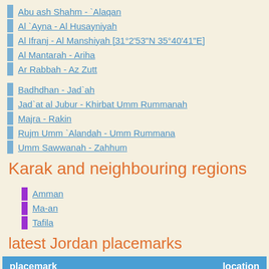Abu ash Shahm - `Alaqan
Al `Ayna - Al Husayniyah
Al Ifranj - Al Manshiyah [31°2'53"N 35°40'41"E]
Al Mantarah - Ariha
Ar Rabbah - Az Zutt
Badhdhan - Jad`ah
Jad`at al Jubur - Khirbat Umm Rummanah
Majra - Rakin
Rujm Umm `Alandah - Umm Rummana
Umm Sawwanah - Zahhum
Karak and neighbouring regions
Amman
Ma-an
Tafila
latest Jordan placemarks
| placemark | location |
| --- | --- |
| Arab Cardboard Manufacturing Company - | Amman in / |